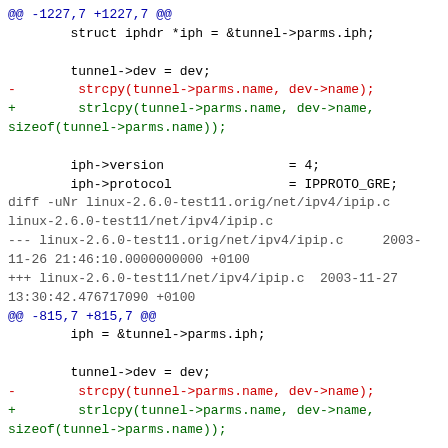@@ -1227,7 +1227,7 @@
        struct iphdr *iph = &tunnel->parms.iph;

        tunnel->dev = dev;
-        strcpy(tunnel->parms.name, dev->name);
+        strlcpy(tunnel->parms.name, dev->name,
sizeof(tunnel->parms.name));

        iph->version                = 4;
        iph->protocol               = IPPROTO_GRE;
diff -uNr linux-2.6.0-test11.orig/net/ipv4/ipip.c linux-2.6.0-test11/net/ipv4/ipip.c
--- linux-2.6.0-test11.orig/net/ipv4/ipip.c     2003-11-26 21:46:10.0000000000 +0100
+++ linux-2.6.0-test11/net/ipv4/ipip.c  2003-11-27 13:30:42.476717090 +0100
@@ -815,7 +815,7 @@
        iph = &tunnel->parms.iph;

        tunnel->dev = dev;
-        strcpy(tunnel->parms.name, dev->name);
+        strlcpy(tunnel->parms.name, dev->name,
sizeof(tunnel->parms.name));

        memcpy(dev->dev_addr, &tunnel->parms.iph.saddr, 4);
        memcpy(dev->broadcast, &tunnel->parms.iph.daddr, 4);
@@ -853,7 +853,7 @@
        struct iphdr *iph = &tunnel->parms.iph;